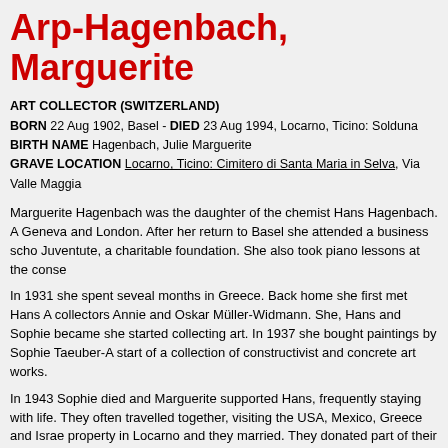Arp-Hagenbach, Marguerite
ART COLLECTOR (SWITZERLAND)
BORN 22 Aug 1902, Basel - DIED 23 Aug 1994, Locarno, Ticino: Solduna
BIRTH NAME Hagenbach, Julie Marguerite
GRAVE LOCATION Locarno, Ticino: Cimitero di Santa Maria in Selva, Via Valle Maggia
Marguerite Hagenbach was the daughter of the chemist Hans Hagenbach. A... Geneva and London. After her return to Basel she attended a business scho... Juventute, a charitable foundation. She also took piano lessons at the conse...
In 1931 she spent seveal months in Greece. Back home she first met Hans A... collectors Annie and Oskar Müller-Widmann. She, Hans and Sophie became... she started collecting art. In 1937 she bought paintings by Sophie Taeuber-A... start of a collection of constructivist and concrete art works.
In 1943 Sophie died and Marguerite supported Hans, frequently staying with... life. They often travelled together, visiting the USA, Mexico, Greece and Israe... property in Locarno and they married. They donated part of their collection to... in 1966 she supported the search into the work of Hans and Sophie. In 1988... Fondazione Marguerite Arp-Hagenbach. She died in 1994 in Locarno and wa...
Family
• Husband: Arp, Hans (1959-1966)
Related persons
• owned work of Schwitters, Kurt
• owned work of Taeuber-Arp, Sophie